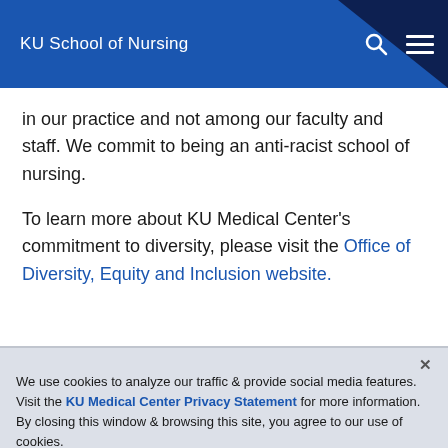KU School of Nursing
in our practice and not among our faculty and staff. We commit to being an anti-racist school of nursing.
To learn more about KU Medical Center's commitment to diversity, please visit the Office of Diversity, Equity and Inclusion website.
We use cookies to analyze our traffic & provide social media features. Visit the KU Medical Center Privacy Statement for more information. By closing this window & browsing this site, you agree to our use of cookies.